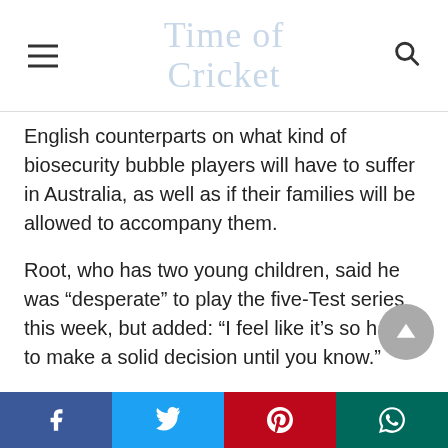Time of Cricket
English counterparts on what kind of biosecurity bubble players will have to suffer in Australia, as well as if their families will be allowed to accompany them.
Root, who has two young children, said he was “desperate” to play the five-Test series this week, but added: “I feel like it’s so hard to make a solid decision until you know.”
Also Read; Chairman PCB shares his vision with First Board officials